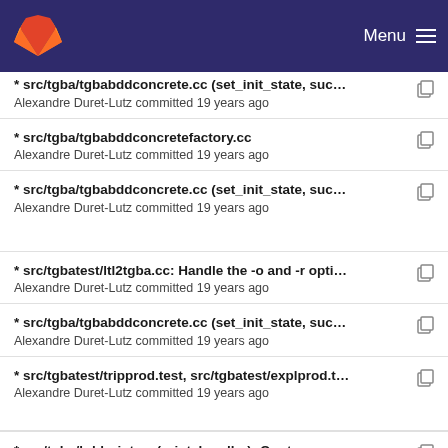Menu
* src/tgba/tgbabddconcrete.cc (set_init_state, suc... | Alexandre Duret-Lutz committed 19 years ago
* src/tgba/tgbabddconcretefactory.cc | Alexandre Duret-Lutz committed 19 years ago
* src/tgba/tgbabddconcrete.cc (set_init_state, suc... | Alexandre Duret-Lutz committed 19 years ago
* src/tgbatest/ltl2tgba.cc: Handle the -o and -r opti... | Alexandre Duret-Lutz committed 19 years ago
* src/tgba/tgbabddconcrete.cc (set_init_state, suc... | Alexandre Duret-Lutz committed 19 years ago
* src/tgbatest/tripprod.test, src/tgbatest/explprod.t... | Alexandre Duret-Lutz committed 19 years ago
* src/tgba/bddprint.cc (print_handler): Quote prom...